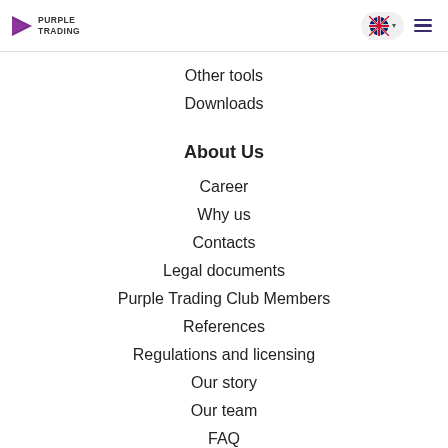Purple Trading
Other tools
Downloads
About Us
Career
Why us
Contacts
Legal documents
Purple Trading Club Members
References
Regulations and licensing
Our story
Our team
FAQ